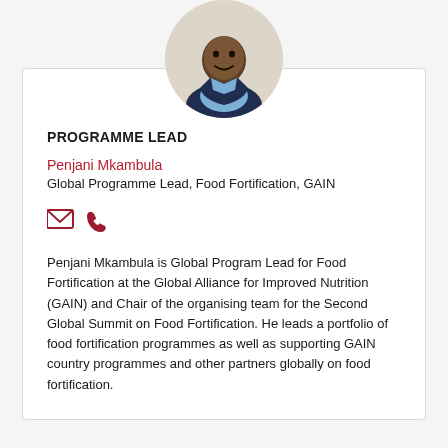[Figure (photo): Circular profile photo of Penjani Mkambula, a man in a dark blazer and light blue shirt, smiling, against a light background.]
PROGRAMME LEAD
Penjani Mkambula
Global Programme Lead, Food Fortification, GAIN
[Figure (other): Email icon and phone icon in dark red/crimson color]
Penjani Mkambula is Global Program Lead for Food Fortification at the Global Alliance for Improved Nutrition (GAIN) and Chair of the organising team for the Second Global Summit on Food Fortification. He leads a portfolio of food fortification programmes as well as supporting GAIN country programmes and other partners globally on food fortification.